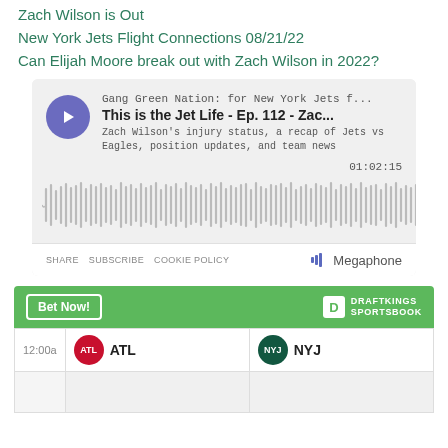Zach Wilson is Out
New York Jets Flight Connections 08/21/22
Can Elijah Moore break out with Zach Wilson in 2022?
[Figure (screenshot): Podcast player card: Gang Green Nation: for New York Jets f... — This is the Jet Life - Ep. 112 - Zac... — Zach Wilson's injury status, a recap of Jets vs Eagles, position updates, and team news — 01:02:15 — waveform audio visualization — SHARE SUBSCRIBE COOKIE POLICY — Megaphone branding]
[Figure (screenshot): DraftKings Sportsbook betting widget showing ATL vs NYJ matchup at 12:00a with Bet Now button]